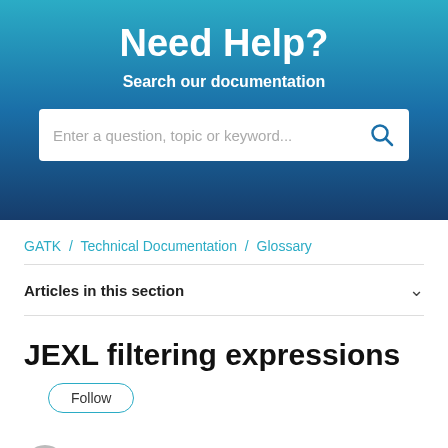Need Help?
Search our documentation
Enter a question, topic or keyword...
GATK / Technical Documentation / Glossary
Articles in this section
JEXL filtering expressions
Follow
GATK Team